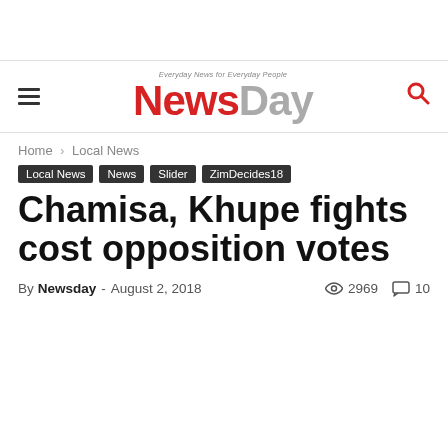NewsDay – Everyday News for Everyday People
Home › Local News
Local News
News
Slider
ZimDecides18
Chamisa, Khupe fights cost opposition votes
By Newsday - August 2, 2018  👁 2969  💬 10